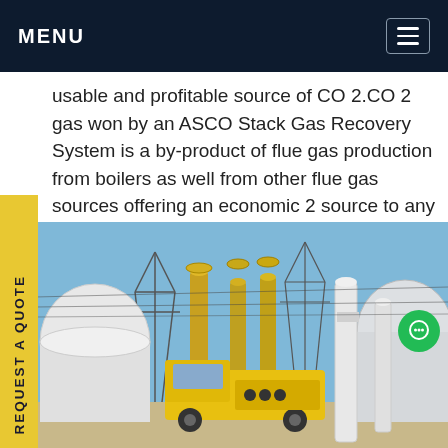MENU
usable and profitable source of CO 2.CO 2 gas won by an ASCO Stack Gas Recovery System is a by-product of flue gas production from boilers as well from other flue gas sources offering an economic 2 source to any CO 2 consumer or reseller. ASCO, a provider of complete CO 2 solutions, offersGet e
[Figure (photo): Industrial photograph showing yellow ASCO trucks and large industrial equipment including cylindrical tanks, pipes, and electrical power transmission towers against a blue sky.]